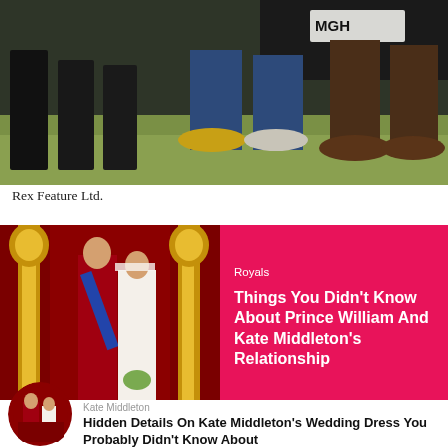[Figure (photo): Photo of people standing on grass, showing only legs and feet. A dark car is visible with a license plate reading 'MGH'. One person wears blue jeans with yellow shoes, another with white shoes, and another in brown boots.]
Rex Feature Ltd.
[Figure (photo): Wax figures of Prince William and Kate Middleton in royal/wedding attire against a red curtained backdrop with gold pillars, paired with a pink/red background panel.]
Royals
Things You Didn't Know About Prince William And Kate Middleton's Relationship
[Figure (photo): Circular cropped photo of wax figures of Prince William and Kate Middleton.]
Kate Middleton
Hidden Details On Kate Middleton's Wedding Dress You Probably Didn't Know About